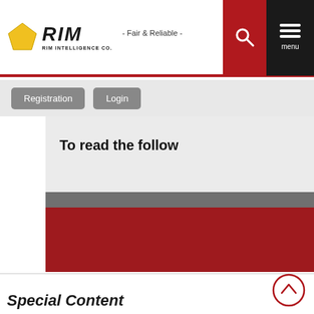RIM INTELLIGENCE CO. - Fair & Reliable -
Registration  Login
To read the follow
[Figure (other): Gray horizontal bar (blurred/redacted content)]
[Figure (other): Red/dark-red horizontal bar (blurred/redacted content)]
Special Content